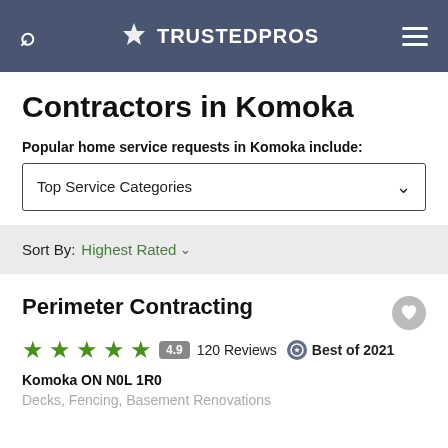TRUSTEDPROS
Contractors in Komoka
Popular home service requests in Komoka include:
Top Service Categories
Sort By: Highest Rated
Perimeter Contracting
4.9 120 Reviews Best of 2021
Komoka ON N0L 1R0
Decks, Fencing, Basement Renovations